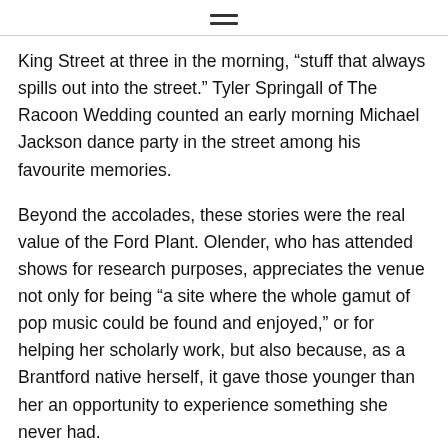≡
King Street at three in the morning, “stuff that always spills out into the street.” Tyler Springall of The Racoon Wedding counted an early morning Michael Jackson dance party in the street among his favourite memories.
Beyond the accolades, these stories were the real value of the Ford Plant. Olender, who has attended shows for research purposes, appreciates the venue not only for being “a site where the whole gamut of pop music could be found and enjoyed,” or for helping her scholarly work, but also because, as a Brantford native herself, it gave those younger than her an opportunity to experience something she never had.